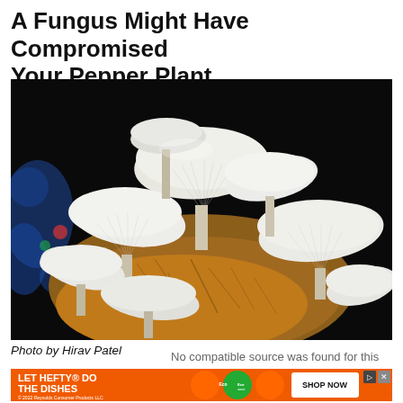A Fungus Might Have Compromised Your Pepper Plant
[Figure (photo): Close-up photograph of white oyster mushrooms growing from a golden-brown substrate/log, with a dark background and blue elements visible on the left side.]
Photo by Hirav Patel
[Figure (screenshot): Advertisement banner: LET HEFTY DO THE DISHES - Reynolds Consumer Products LLC 2022, with Ecosave product image and SHOP NOW button]